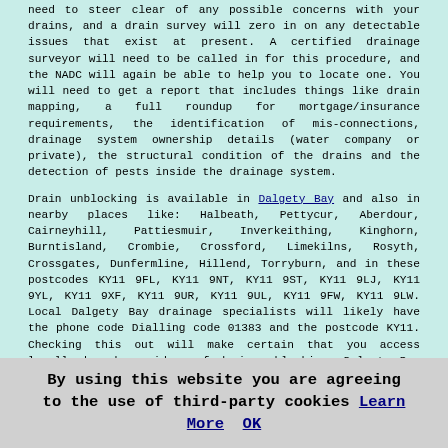need to steer clear of any possible concerns with your drains, and a drain survey will zero in on any detectable issues that exist at present. A certified drainage surveyor will need to be called in for this procedure, and the NADC will again be able to help you to locate one. You will need to get a report that includes things like drain mapping, a full roundup for mortgage/insurance requirements, the identification of mis-connections, drainage system ownership details (water company or private), the structural condition of the drains and the detection of pests inside the drainage system.
Drain unblocking is available in Dalgety Bay and also in nearby places like: Halbeath, Pettycur, Aberdour, Cairneyhill, Pattiesmuir, Inverkeithing, Kinghorn, Burntisland, Crombie, Crossford, Limekilns, Rosyth, Crossgates, Dunfermline, Hillend, Torryburn, and in these postcodes KY11 9FL, KY11 9NT, KY11 9ST, KY11 9LJ, KY11 9YL, KY11 9XF, KY11 9UR, KY11 9UL, KY11 9FW, KY11 9LW. Local Dalgety Bay drainage specialists will likely have the phone code Dialling code 01383 and the postcode KY11. Checking this out will make certain that you access locally based providers of drain unblocking. Dalgety Bay homeowners will be able to benefit from these and numerous other related
By using this website you are agreeing to the use of third-party cookies Learn More OK